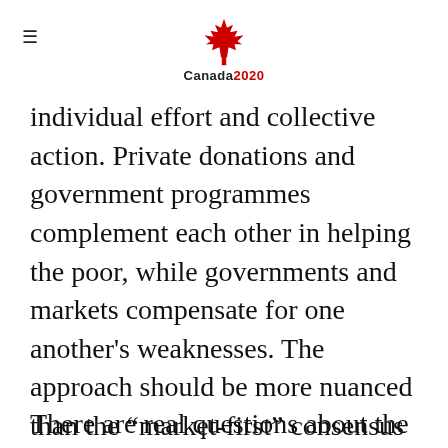[Figure (logo): Canada2020 logo with red maple leaf above text 'Canada2020' with '2020' in red]
individual effort and collective action. Private donations and government programmes complement each other in helping the poor, while governments and markets compensate for one another's weaknesses. The approach should be more nuanced than the “market-first” consensus of the current narrative.
There are real questions about the